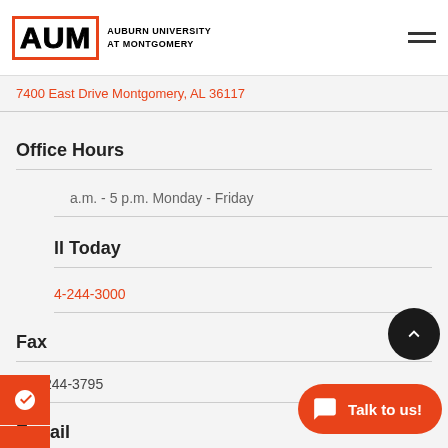AUM - Auburn University at Montgomery
7400 East Drive Montgomery, AL 36117
Office Hours
a.m. - 5 p.m. Monday - Friday
ll Today
4-244-3000
Fax
334-244-3795
E-mail